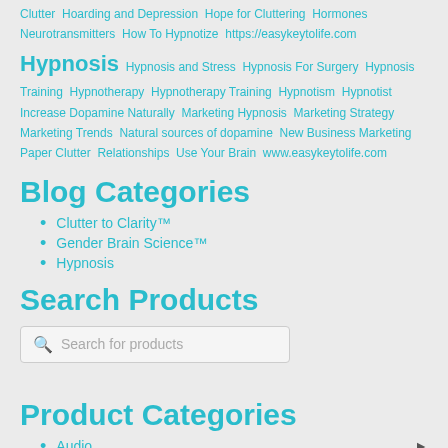Clutter Hoarding and Depression Hope for Cluttering Hormones Neurotransmitters How To Hypnotize https://easykeytolife.com Hypnosis Hypnosis and Stress Hypnosis For Surgery Hypnosis Training Hypnotherapy Hypnotherapy Training Hypnotism Hypnotist Increase Dopamine Naturally Marketing Hypnosis Marketing Strategy Marketing Trends Natural sources of dopamine New Business Marketing Paper Clutter Relationships Use Your Brain www.easykeytolife.com
Blog Categories
Clutter to Clarity™
Gender Brain Science™
Hypnosis
Search Products
Search for products
Product Categories
Audio